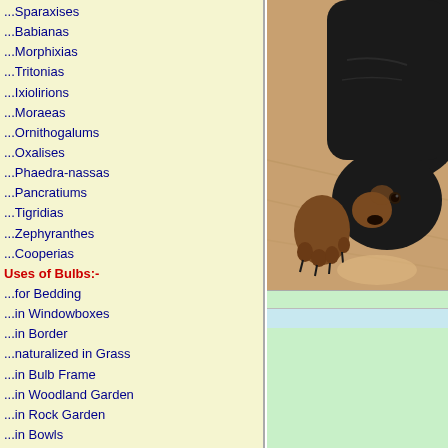...Sparaxises
...Babianas
...Morphixias
...Tritonias
...Ixiolirions
...Moraeas
...Ornithogalums
...Oxalises
...Phaedra-nassas
...Pancratiums
...Tigridias
...Zephyranthes
...Cooperias
Uses of Bulbs:-
...for Bedding
...in Windowboxes
...in Border
...naturalized in Grass
...in Bulb Frame
...in Woodland Garden
...in Rock Garden
...in Bowls
...in Alpine House
...Bulbs in Greenhouse or Stove:-
...Achimenes
...Alocasias
...Amorpho-phalluses
...Arisaemas
...Arums
...Begonias
...Bomareas
...Caladiums
...Clivias
...Colocasias
...Crinums
...Cyclamens
...Cyrtanthuses
...Eucharises
...Urceocharis
...Eurycles
[Figure (photo): A black Rottweiler dog lying on a wooden floor, photographed from above, showing head and front paw]